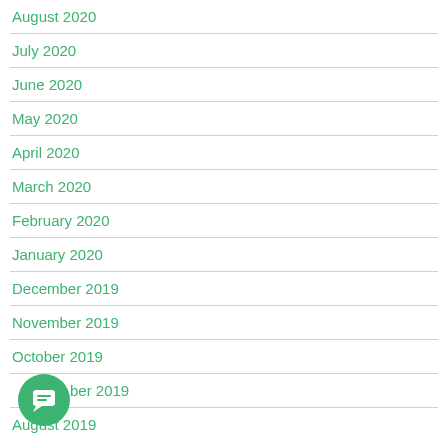August 2020
July 2020
June 2020
May 2020
April 2020
March 2020
February 2020
January 2020
December 2019
November 2019
October 2019
September 2019
August 2019
[Figure (other): Green circular chat/message button icon in bottom-left corner]